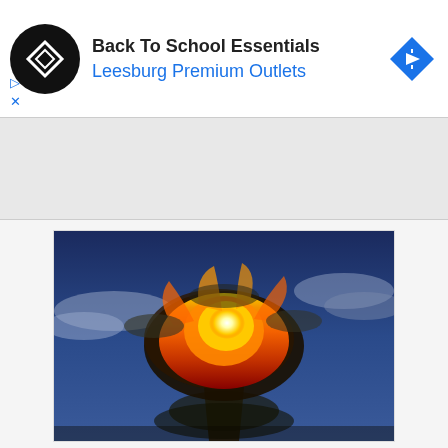[Figure (screenshot): Advertisement banner: black circular logo with diamond/infinity symbol, text 'Back To School Essentials' in dark, 'Leesburg Premium Outlets' in blue, blue diamond navigation arrow icon on right, with small play and X controls below logo]
[Figure (photo): Nuclear explosion mushroom cloud fireball against blue sky with clouds]